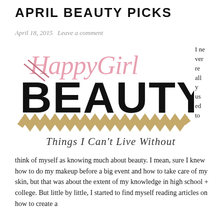APRIL BEAUTY PICKS
April 18, 2015   Leave a comment
[Figure (logo): HappyGirl Beauty – Things I Can't Live Without logo. Pink cursive 'HappyGirl' text above large bold black 'BEAUTY' text, with gold chevron zigzag stripe and italic script 'Things I Can't Live Without' below.]
I never really used to think of myself as knowing much about beauty. I mean, sure I knew how to do my makeup before a big event and how to take care of my skin, but that was about the extent of my knowledge in high school + college. But little by little, I started to find myself reading articles on how to create a